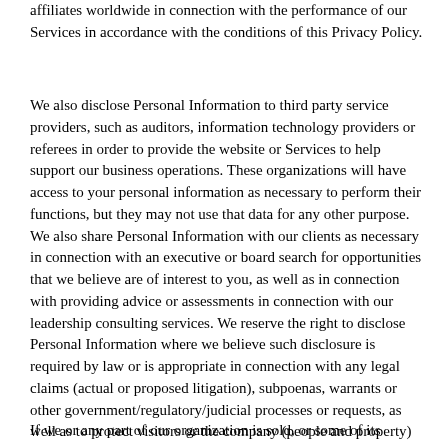affiliates worldwide in connection with the performance of our Services in accordance with the conditions of this Privacy Policy.
We also disclose Personal Information to third party service providers, such as auditors, information technology providers or referees in order to provide the website or Services to help support our business operations. These organizations will have access to your personal information as necessary to perform their functions, but they may not use that data for any other purpose. We also share Personal Information with our clients as necessary in connection with an executive or board search for opportunities that we believe are of interest to you, as well as in connection with providing advice or assessments in connection with our leadership consulting services. We reserve the right to disclose Personal Information where we believe such disclosure is required by law or is appropriate in connection with any legal claims (actual or proposed litigation), subpoenas, warrants or other government/regulatory/judicial processes or requests, as well as to protect visitors or the company (people and property) and other rights or interests, or to comply with applicable law. We do not sell or rent your Personal Information.
If we or any part of our organization is sold, or some of its